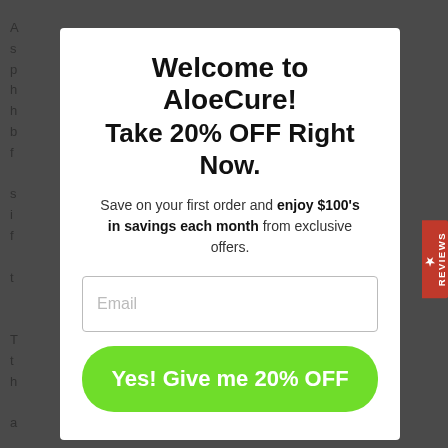Welcome to AloeCure! Take 20% OFF Right Now.
Save on your first order and enjoy $100's in savings each month from exclusive offers.
[Figure (screenshot): Email input field with placeholder text 'Email']
Yes! Give me 20% OFF
REVIEWS